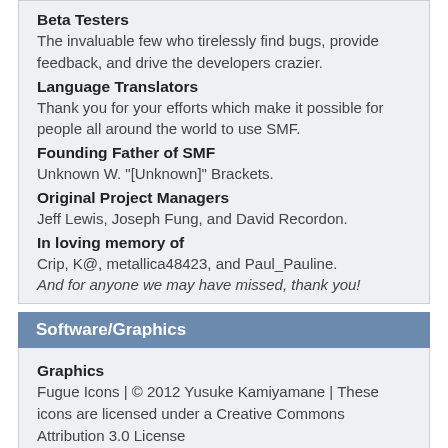Beta Testers
The invaluable few who tirelessly find bugs, provide feedback, and drive the developers crazier.
Language Translators
Thank you for your efforts which make it possible for people all around the world to use SMF.
Founding Father of SMF
Unknown W. "[Unknown]" Brackets.
Original Project Managers
Jeff Lewis, Joseph Fung, and David Recordon.
In loving memory of
Crip, K@, metallica48423, and Paul_Pauline.
And for anyone we may have missed, thank you!
Software/Graphics
Graphics
Fugue Icons | © 2012 Yusuke Kamiyamane | These icons are licensed under a Creative Commons Attribution 3.0 License
Oxygen Icons | These icons are licensed under GNU LGPLv3
Software
JQuery | © John Resig | Licensed under The MIT License (MIT)
hoverIntent | © Brian Cherne | Licensed under The MIT License